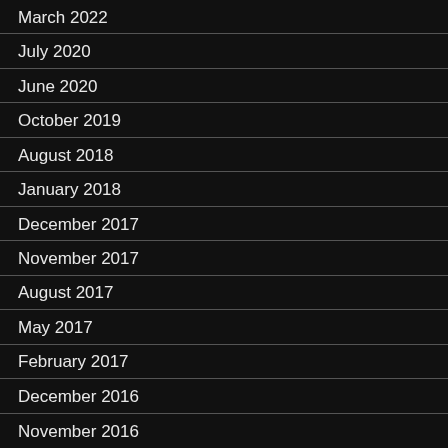March 2022
July 2020
June 2020
October 2019
August 2018
January 2018
December 2017
November 2017
August 2017
May 2017
February 2017
December 2016
November 2016